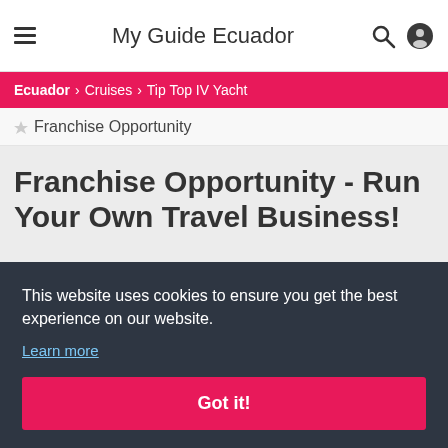My Guide Ecuador
Ecuador > Cruises > Tip Top IV Yacht
Franchise Opportunity
Franchise Opportunity - Run Your Own Travel Business!
This website uses cookies to ensure you get the best experience on our website.
Learn more
Got it!
If you are interested in becoming a local travel partner for your